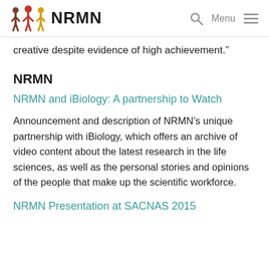NRMN | Menu
creative despite evidence of high achievement.”
NRMN
NRMN and iBiology: A partnership to Watch
Announcement and description of NRMN’s unique partnership with iBiology, which offers an archive of video content about the latest research in the life sciences, as well as the personal stories and opinions of the people that make up the scientific workforce.
NRMN Presentation at SACNAS 2015